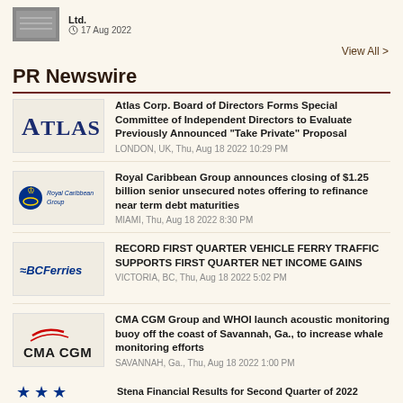[Figure (logo): Small image of calculator/financial tool with text 'Ltd.' and date 17 Aug 2022]
View All >
PR Newswire
[Figure (logo): Atlas Corp. logo - navy blue ATLAS text]
Atlas Corp. Board of Directors Forms Special Committee of Independent Directors to Evaluate Previously Announced "Take Private" Proposal
LONDON, UK, Thu, Aug 18 2022 10:29 PM
[Figure (logo): Royal Caribbean Group logo - crown anchor emblem with company name]
Royal Caribbean Group announces closing of $1.25 billion senior unsecured notes offering to refinance near term debt maturities
MIAMI, Thu, Aug 18 2022 8:30 PM
[Figure (logo): BCFerries logo - wave symbol with BCFerries italic text]
RECORD FIRST QUARTER VEHICLE FERRY TRAFFIC SUPPORTS FIRST QUARTER NET INCOME GAINS
VICTORIA, BC, Thu, Aug 18 2022 5:02 PM
[Figure (logo): CMA CGM Group logo - red cursive top with bold CMA CGM text]
CMA CGM Group and WHOI launch acoustic monitoring buoy off the coast of Savannah, Ga., to increase whale monitoring efforts
SAVANNAH, Ga., Thu, Aug 18 2022 1:00 PM
[Figure (logo): Stars logo - three blue stars]
Stena Financial Results for Second Quarter of 2022